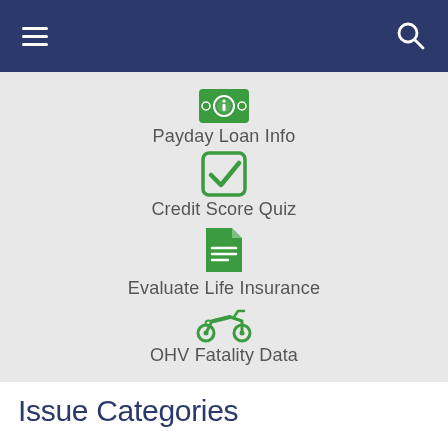[Figure (screenshot): Navigation bar with hamburger menu on left and search icon on right, dark navy blue background]
Payday Loan Info
Credit Score Quiz
Evaluate Life Insurance
OHV Fatality Data
Issue Categories